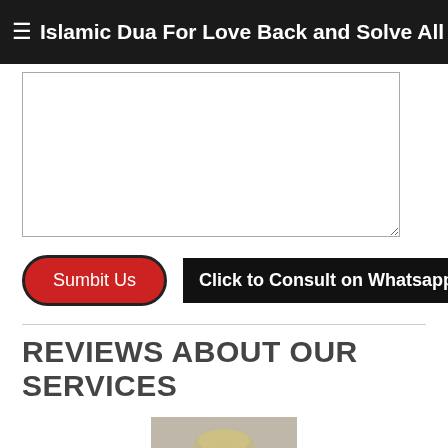Islamic Dua For Love Back and Solve All Problems
[Figure (screenshot): Large empty textarea input field for user to type a comment or message]
[Figure (screenshot): Submit Us button (red rounded) and Click to Consult on Whatsapp button (black background)]
REVIEWS ABOUT OUR SERVICES
[Figure (photo): Blurry photo of a person (man with light hair) from the shoulders up]